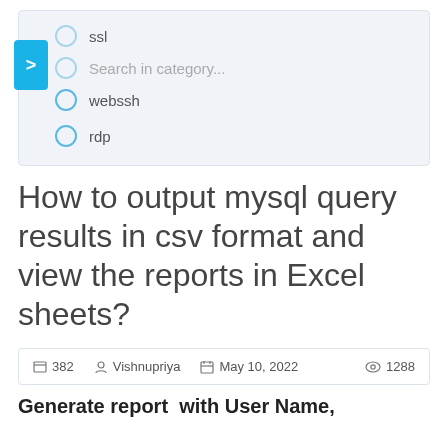ssl
Search in category...
webssh
rdp
How to output mysql query results in csv format and view the reports in Excel sheets?
382  Vishnupriya  May 10, 2022  1288
Generate report  with User Name,